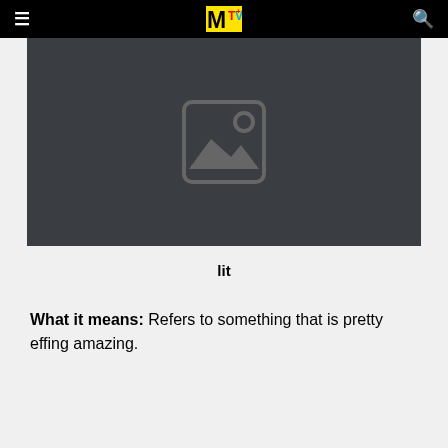MTV (navigation bar with hamburger menu, MTV logo, and search icon)
[Figure (photo): Dark grey placeholder image with a generic landscape/image icon centered in it]
lit
What it means: Refers to something that is pretty effing amazing.